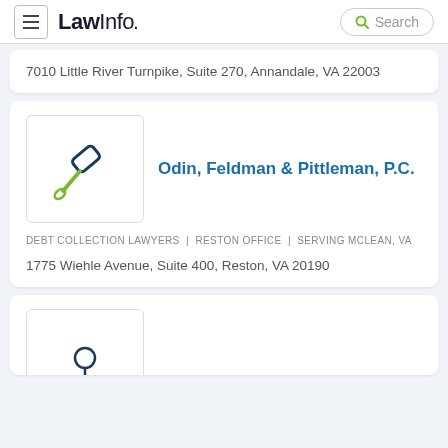LawInfo. Search
7010 Little River Turnpike, Suite 270, Annandale, VA 22003
[Figure (logo): LawInfo law firm gavel/hammer icon in dark blue and green]
Odin, Feldman & Pittleman, P.C.
DEBT COLLECTION LAWYERS  |  RESTON OFFICE  |  SERVING MCLEAN, VA
1775 Wiehle Avenue, Suite 400, Reston, VA 20190
[Figure (logo): Partial view of another law firm logo icon]